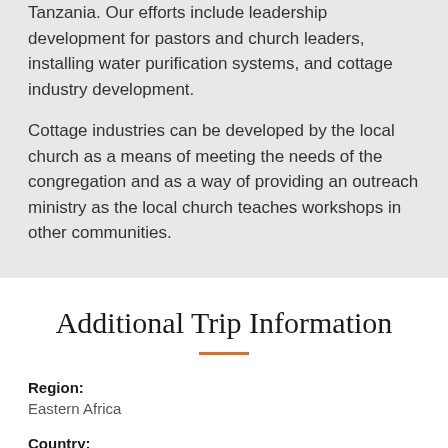Tanzania. Our efforts include leadership development for pastors and church leaders, installing water purification systems, and cottage industry development.
Cottage industries can be developed by the local church as a means of meeting the needs of the congregation and as a way of providing an outreach ministry as the local church teaches workshops in other communities.
Additional Trip Information
Region:
Eastern Africa
Country:
Kenya, Tanzania, Uganda
Participant Age: